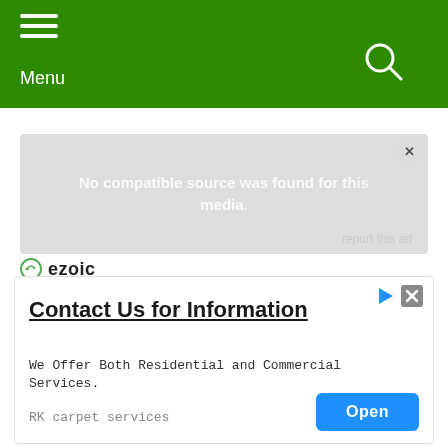Menu
[Figure (screenshot): Video player showing 'No compatible source was found for this media.' error with a close button and 'report this ad' link]
[Figure (logo): Ezoic logo with circular icon]
[Figure (screenshot): Advertisement: 'Contact Us for Information' - We Offer Both Residential and Commercial Services. RK carpet services. Open button.]